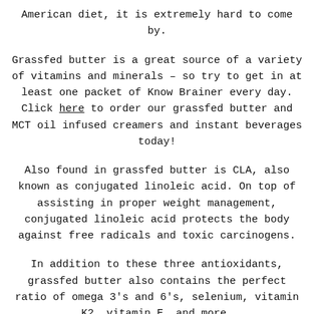American diet, it is extremely hard to come by.
Grassfed butter is a great source of a variety of vitamins and minerals – so try to get in at least one packet of Know Brainer every day. Click here to order our grassfed butter and MCT oil infused creamers and instant beverages today!
Also found in grassfed butter is CLA, also known as conjugated linoleic acid. On top of assisting in proper weight management, conjugated linoleic acid protects the body against free radicals and toxic carcinogens.
In addition to these three antioxidants, grassfed butter also contains the perfect ratio of omega 3's and 6's, selenium, vitamin K2, vitamin E, and more.